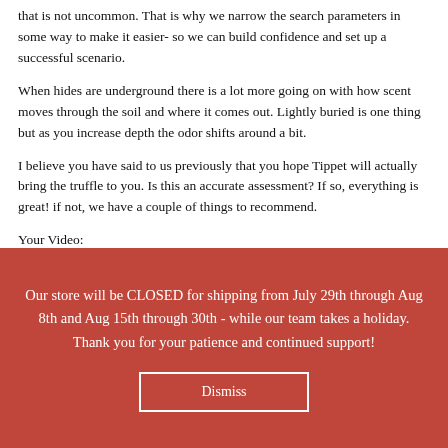that is not uncommon. That is why we narrow the search parameters in some way to make it easier- so we can build confidence and set up a successful scenario.
When hides are underground there is a lot more going on with how scent moves through the soil and where it comes out. Lightly buried is one thing but as you increase depth the odor shifts around a bit.
I believe you have said to us previously that you hope Tippet will actually bring the truffle to you. Is this an accurate assessment? If so, everything is great! if not, we have a couple of things to recommend.
Your Video:
For you guys
(and this sin?t for every student) I really like your start 🙂
Our store will be CLOSED for shipping from July 29th through Aug 8th and Aug 15th through 30th - while our team takes a holiday. Thank you for your patience and continued support!
Dismiss